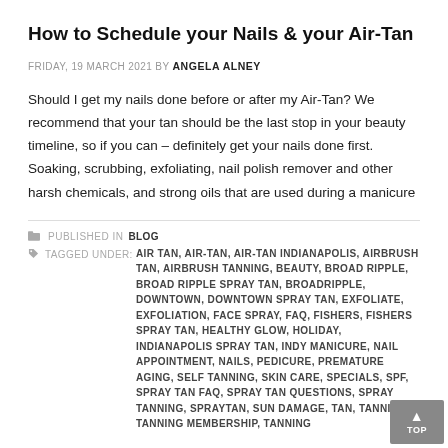How to Schedule your Nails & your Air-Tan
FRIDAY, 19 MARCH 2021 BY ANGELA ALNEY
Should I get my nails done before or after my Air-Tan? We recommend that your tan should be the last stop in your beauty timeline, so if you can – definitely get your nails done first. Soaking, scrubbing, exfoliating, nail polish remover and other harsh chemicals, and strong oils that are used during a manicure
PUBLISHED IN BLOG
TAGGED UNDER: AIR TAN, AIR-TAN, AIR-TAN INDIANAPOLIS, AIRBRUSH TAN, AIRBRUSH TANNING, BEAUTY, BROAD RIPPLE, BROAD RIPPLE SPRAY TAN, BROADRIPPLE, DOWNTOWN, DOWNTOWN SPRAY TAN, EXFOLIATE, EXFOLIATION, FACE SPRAY, FAQ, FISHERS, FISHERS SPRAY TAN, HEALTHY GLOW, HOLIDAY, INDIANAPOLIS SPRAY TAN, INDY MANICURE, NAIL APPOINTMENT, NAILS, PEDICURE, PREMATURE AGING, SELF TANNING, SKIN CARE, SPECIALS, SPF, SPRAY TAN FAQ, SPRAY TAN QUESTIONS, SPRAY TANNING, SPRAYTAN, SUN DAMAGE, TAN, TANNING, TANNING MEMBERSHIP, TANNING